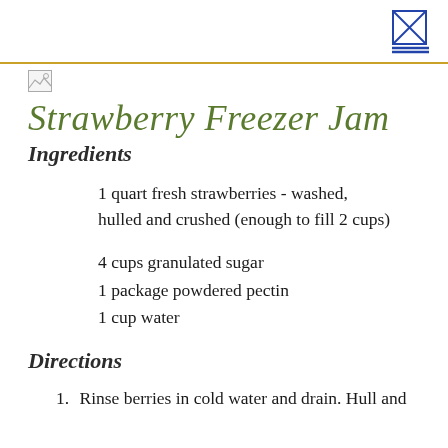[Figure (illustration): Broken image placeholder icon (small thumbnail)]
Strawberry Freezer Jam
Ingredients
1 quart fresh strawberries - washed, hulled and crushed (enough to fill 2 cups)
4 cups granulated sugar
1 package powdered pectin
1 cup water
Directions
1. Rinse berries in cold water and drain. Hull and